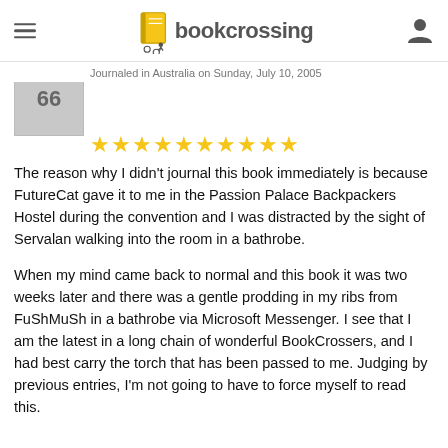bookcrossing
Journaled in Australia on Sunday, July 10, 2005
[Figure (illustration): Book cover thumbnail with number 66]
★★★★★★★★★★
The reason why I didn't journal this book immediately is because FutureCat gave it to me in the Passion Palace Backpackers Hostel during the convention and I was distracted by the sight of Servalan walking into the room in a bathrobe.

When my mind came back to normal and this book it was two weeks later and there was a gentle prodding in my ribs from FuShMuSh in a bathrobe via Microsoft Messenger. I see that I am the latest in a long chain of wonderful BookCrossers, and I had best carry the torch that has been passed to me. Judging by previous entries, I'm not going to have to force myself to read this.